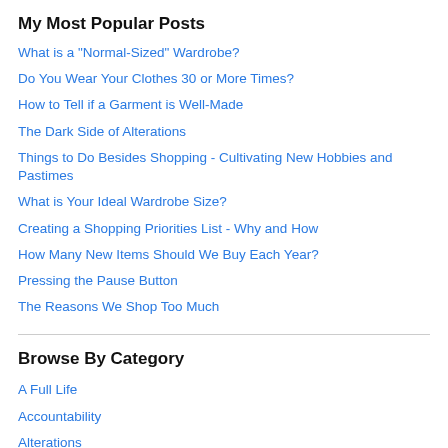My Most Popular Posts
What is a "Normal-Sized" Wardrobe?
Do You Wear Your Clothes 30 or More Times?
How to Tell if a Garment is Well-Made
The Dark Side of Alterations
Things to Do Besides Shopping - Cultivating New Hobbies and Pastimes
What is Your Ideal Wardrobe Size?
Creating a Shopping Priorities List - Why and How
How Many New Items Should We Buy Each Year?
Pressing the Pause Button
The Reasons We Shop Too Much
Browse By Category
A Full Life
Accountability
Alterations
April Benson's Philosophies